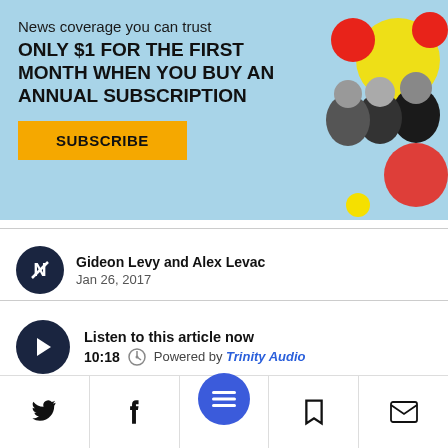[Figure (infographic): Subscription advertisement banner with light blue background, text promoting news coverage, subscribe button, and illustration of three political figures with colorful circles]
Gideon Levy and Alex Levac
Jan 26, 2017
Listen to this article now
10:18  Powered by Trinity Audio
[Figure (infographic): Bottom navigation bar with Twitter, Facebook, hamburger menu (blue circle), bookmark, and email icons]